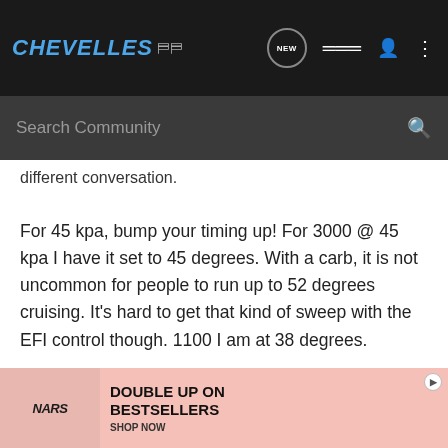CHEVELLES
different conversation.
For 45 kpa, bump your timing up! For 3000 @ 45 kpa I have it set to 45 degrees. With a carb, it is not uncommon for people to run up to 52 degrees cruising. It's hard to get that kind of sweep with the EFI control though. 1100 I am at 38 degrees.
1971 Chevelle SS454, T56 Magnum 6 speed, 3.31 Posi
[Figure (screenshot): NARS advertisement: Double Up on Bestsellers, Shop Now]